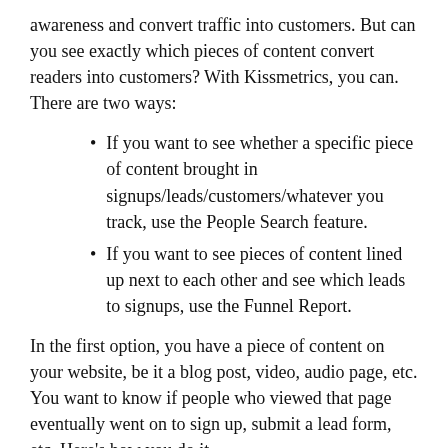awareness and convert traffic into customers. But can you see exactly which pieces of content convert readers into customers? With Kissmetrics, you can. There are two ways:
If you want to see whether a specific piece of content brought in signups/leads/customers/whatever you track, use the People Search feature.
If you want to see pieces of content lined up next to each other and see which leads to signups, use the Funnel Report.
In the first option, you have a piece of content on your website, be it a blog post, video, audio page, etc. You want to know if people who viewed that page eventually went on to sign up, submit a lead form, etc. Here's how you do it.